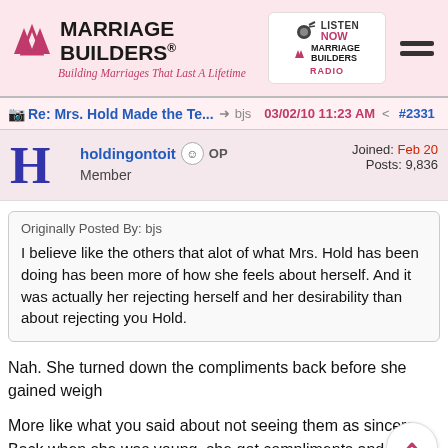Marriage Builders® — Building Marriages That Last A Lifetime
Re: Mrs. Hold Made the Te... bjs  03/02/10 11:23 AM  #2331
holdingontoit OP
Member
Joined: Feb 20
Posts: 9,836
Originally Posted By: bjs
I believe like the others that alot of what Mrs. Hold has been doing has been more of how she feels about herself. And it was actually her rejecting herself and her desirability than about rejecting you Hold.
Nah. She turned down the compliments back before she gained weigh
More like what you said about not seeing them as sincere. Back when she was young, she got compliments and wolf whistles all day. So she